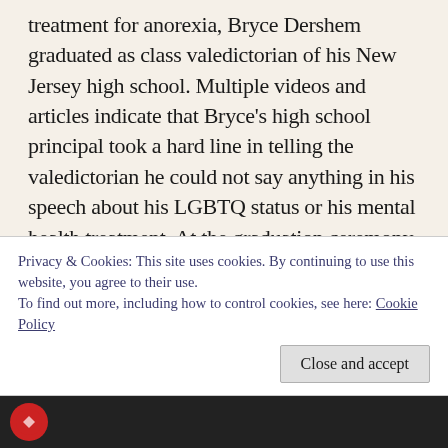treatment for anorexia, Bryce Dershem graduated as class valedictorian of his New Jersey high school. Multiple videos and articles indicate that Bryce's high school principal took a hard line in telling the valedictorian he could not say anything in his speech about his LGBTQ status or his mental health treatment. At the graduation ceremony, when Bryce started to speak his truth, the principal disconnected his microphone and took away Bryce's printed speech notes. Students yelled, "Let him finish!" The good news is that someone brought him another mic and Bryce finished his speech from memory. He talked about overcoming challenges and accepting yourself. I was
Privacy & Cookies: This site uses cookies. By continuing to use this website, you agree to their use.
To find out more, including how to control cookies, see here: Cookie Policy
Close and accept
[Figure (photo): Dark background strip at the bottom with a red circular logo/icon visible on the left]